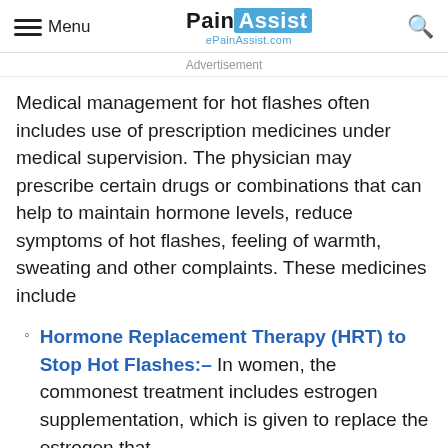Menu | PainAssist ePainAssist.com | Search
Advertisement
Medical management for hot flashes often includes use of prescription medicines under medical supervision. The physician may prescribe certain drugs or combinations that can help to maintain hormone levels, reduce symptoms of hot flashes, feeling of warmth, sweating and other complaints. These medicines include
Hormone Replacement Therapy (HRT) to Stop Hot Flashes:– In women, the commonest treatment includes estrogen supplementation, which is given to replace the estrogen that